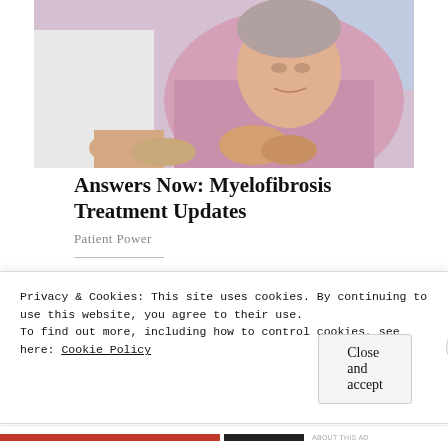[Figure (photo): An elderly woman in a pink shirt appearing to discuss something with a healthcare provider. The provider's hand is visible resting on the table near the patient's clasped hands. Clinical/consultation setting with soft lighting.]
Answers Now: Myelofibrosis Treatment Updates
Patient Power
SHARE THIS:
Facebook   Twitter   Pinterest
Privacy & Cookies: This site uses cookies. By continuing to use this website, you agree to their use.
To find out more, including how to control cookies, see here: Cookie Policy
Close and accept